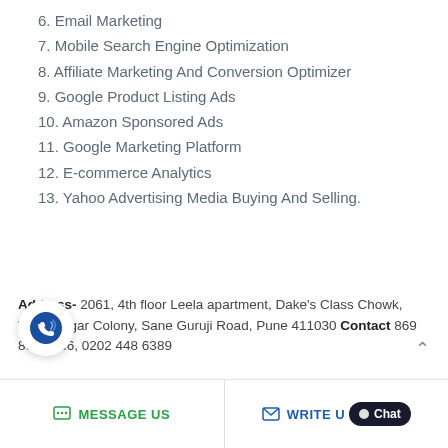6. Email Marketing
7. Mobile Search Engine Optimization
8. Affiliate Marketing And Conversion Optimizer
9. Google Product Listing Ads
10. Amazon Sponsored Ads
11. Google Marketing Platform
12. E-commerce Analytics
13. Yahoo Advertising Media Buying And Selling.
Address- 2061, 4th floor Leela apartment, Dake’s Class Chowk, Vijayanagar Colony, Sane Guruji Road, Pune 411030 Contact 869 860 6666, 0202 448 6389
MESSAGE US    WRITE U    Chat